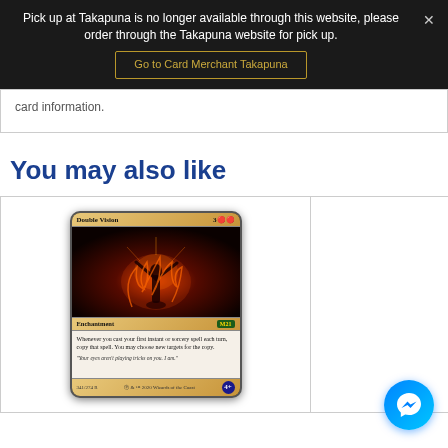Pick up at Takapuna is no longer available through this website, please order through the Takapuna website for pick up. Go to Card Merchant Takapuna
card information.
You may also like
[Figure (photo): Magic: The Gathering card 'Double Vision' — an Enchantment from M21 set. Red card with mana cost 3RR. Art shows a figure surrounded by fire and smoke. Text: Whenever you cast your first instant or sorcery spell each turn, copy that spell. You may choose new targets for the copy. Flavor text: "Your eyes aren't playing tricks on you. I am."]